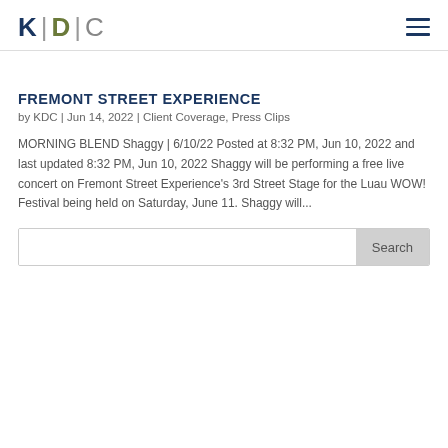KDC
FREMONT STREET EXPERIENCE
by KDC | Jun 14, 2022 | Client Coverage, Press Clips
MORNING BLEND Shaggy | 6/10/22 Posted at 8:32 PM, Jun 10, 2022 and last updated 8:32 PM, Jun 10, 2022 Shaggy will be performing a free live concert on Fremont Street Experience's 3rd Street Stage for the Luau WOW! Festival being held on Saturday, June 11. Shaggy will...